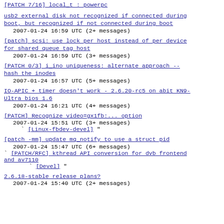[PATCH 7/16] local_t : powerpc
usb2 external disk not recognized if connected during boot, but recognized if not connected during boot
2007-01-24 16:59 UTC  (2+ messages)
[patch] scsi: use lock per host instead of per device for shared queue tag host
2007-01-24 16:59 UTC  (3+ messages)
[PATCH 0/3] i_ino uniqueness: alternate approach -- hash the inodes
2007-01-24 16:57 UTC  (5+ messages)
IO-APIC + timer doesn't work - 2.6.20-rc5 on abit KN9-Ultra bios 1.6
2007-01-24 16:21 UTC  (4+ messages)
[PATCH] Recognize video=gx1fb:... option
2007-01-24 15:51 UTC  (3+ messages)
` [Linux-fbdev-devel] "
[patch -mm] update mq_notify to use a struct pid
2007-01-24 15:47 UTC  (6+ messages)
` [PATCH/RFC] kthread API conversion for dvb frontend and av7110
  ` [Devel] "
2.6.18-stable release plans?
2007-01-24 15:40 UTC  (2+ messages)